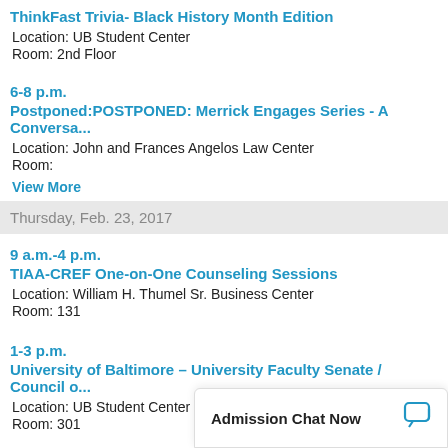ThinkFast Trivia- Black History Month Edition
Location: UB Student Center
Room: 2nd Floor
6-8 p.m.
Postponed:POSTPONED: Merrick Engages Series - A Conversa...
Location: John and Frances Angelos Law Center
Room:
View More
Thursday, Feb. 23, 2017
9 a.m.-4 p.m.
TIAA-CREF One-on-One Counseling Sessions
Location: William H. Thumel Sr. Business Center
Room: 131
1-3 p.m.
University of Baltimore – University Faculty Senate / Council o...
Location: UB Student Center
Room: 301
3:30-5 p.m.